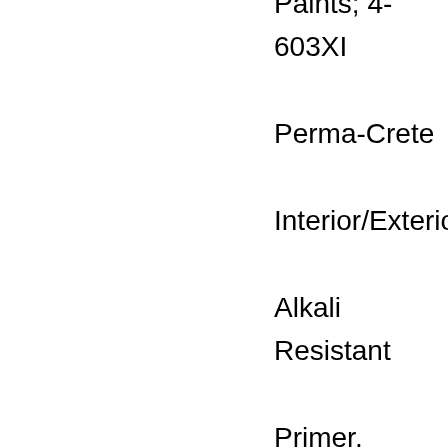Paints; 4-603XI Perma-Crete Interior/Exterior Alkali Resistant Primer. Applied at a dry film thickness of not less than 1.2 mils (0.030 mm).